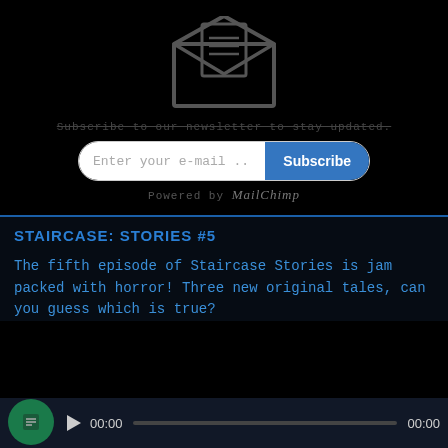[Figure (illustration): Open envelope icon with document lines visible inside, dark outline on black background]
Subscribe to our newsletter to stay updated.
[Figure (screenshot): Email subscription form with white text input field showing 'Enter your e-mail ..' and blue Subscribe button with rounded corners]
Powered by MailChimp
STAIRCASE: STORIES #5
The fifth episode of Staircase Stories is jam packed with horror! Three new original tales, can you guess which is true?
[Figure (screenshot): Audio player bar with play button, timestamps 00:00 and 00:00, and progress bar]